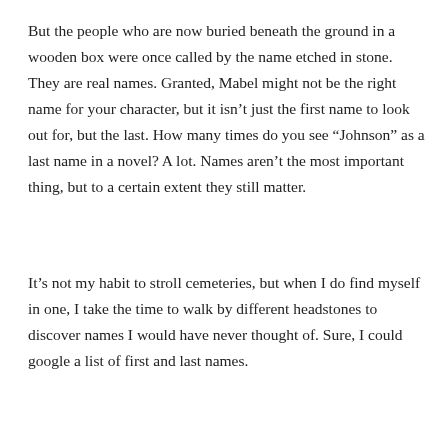But the people who are now buried beneath the ground in a wooden box were once called by the name etched in stone. They are real names. Granted, Mabel might not be the right name for your character, but it isn't just the first name to look out for, but the last. How many times do you see “Johnson” as a last name in a novel? A lot. Names aren’t the most important thing, but to a certain extent they still matter.
It’s not my habit to stroll cemeteries, but when I do find myself in one, I take the time to walk by different headstones to discover names I would have never thought of. Sure, I could google a list of first and last names.